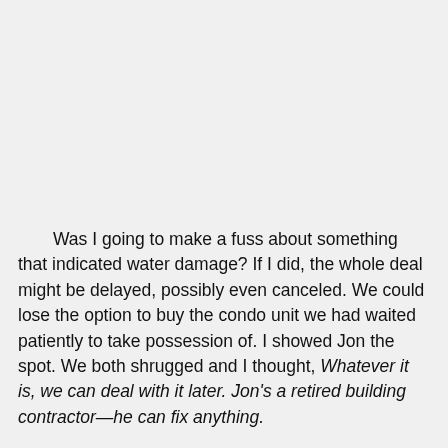Was I going to make a fuss about something that indicated water damage? If I did, the whole deal might be delayed, possibly even canceled. We could lose the option to buy the condo unit we had waited patiently to take possession of. I showed Jon the spot. We both shrugged and I thought, Whatever it is, we can deal with it later. Jon's a retired building contractor—he can fix anything.